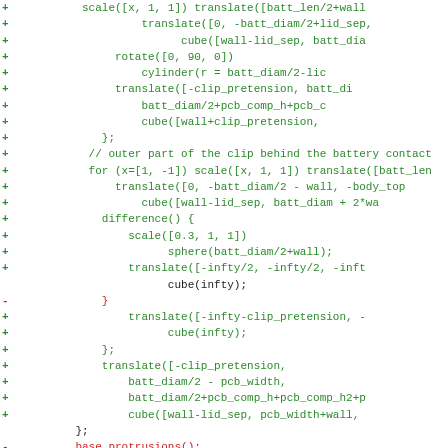[Figure (screenshot): Code diff view showing OpenSCAD code changes for a battery holder/cover module. Green lines with '+' show additions, red lines with '-' show removals. The diff shows changes to translate, cube, rotate, cylinder, difference, scale, sphere, and translate calls, and at the bottom shows a module rename from 'cover()' to 'lid()'.]